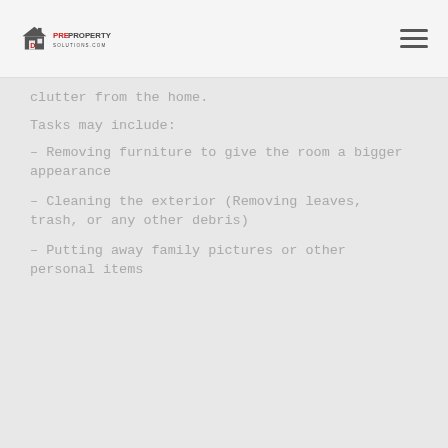PREPROPERTY SOLUTIONS.COM
clutter from the home.
Tasks may include:
- Removing furniture to give the room a bigger appearance
- Cleaning the exterior (Removing leaves, trash, or any other debris)
- Putting away family pictures or other personal items